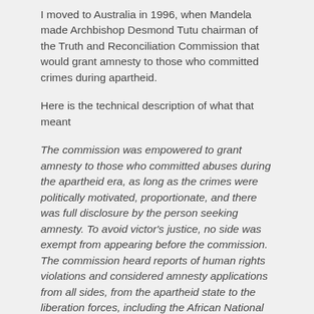I moved to Australia in 1996, when Mandela made Archbishop Desmond Tutu chairman of the Truth and Reconciliation Commission that would grant amnesty to those who committed crimes during apartheid.
Here is the technical description of what that meant
The commission was empowered to grant amnesty to those who committed abuses during the apartheid era, as long as the crimes were politically motivated, proportionate, and there was full disclosure by the person seeking amnesty. To avoid victor's justice, no side was exempt from appearing before the commission. The commission heard reports of human rights violations and considered amnesty applications from all sides, from the apartheid state to the liberation forces, including the African National Congress.